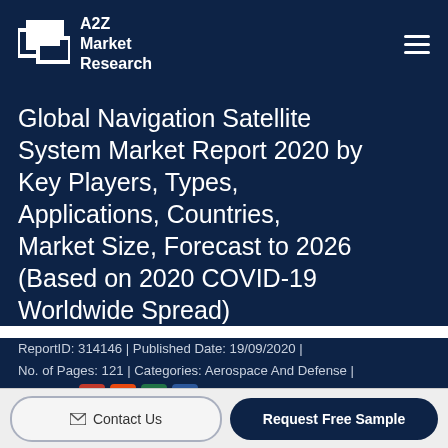A2Z Market Research
Global Navigation Satellite System Market Report 2020 by Key Players, Types, Applications, Countries, Market Size, Forecast to 2026 (Based on 2020 COVID-19 Worldwide Spread)
ReportID: 314146 | Published Date: 19/09/2020 | No. of Pages: 121 | Categories: Aerospace And Defense | Formate :
[Figure (logo): Format icons: PDF, PowerPoint, Excel, Word]
Contact Us | Request Free Sample